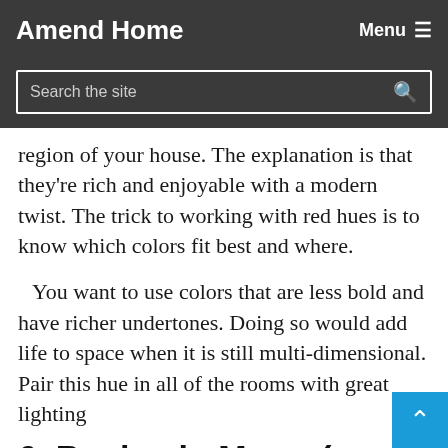Amend Home   Menu ≡
Search the site
region of your house. The explanation is that they're rich and enjoyable with a modern twist. The trick to working with red hues is to know which colors fit best and where.
You want to use colors that are less bold and have richer undertones. Doing so would add life to space when it is still multi-dimensional. Pair this hue in all of the rooms with great lighting
6. Benjamin Moore( White